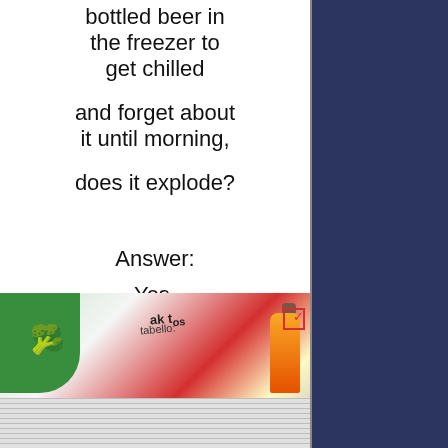bottled beer in the freezer to get chilled
and forget about it until morning,
does it explode?
Answer:
Yes.
[Figure (photo): Photo of food packaging, broccoli, and a beer bottle with papers stacked below]